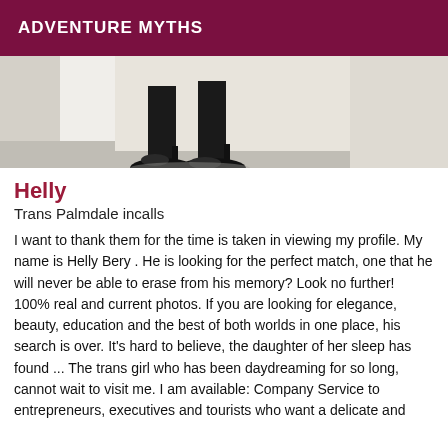ADVENTURE MYTHS
[Figure (photo): Partial photo showing the lower legs and feet of a person wearing black high heels, standing on a light floor with white curtain/drape visible in background]
Helly
Trans Palmdale incalls
I want to thank them for the time is taken in viewing my profile. My name is Helly Bery . He is looking for the perfect match, one that he will never be able to erase from his memory? Look no further! 100% real and current photos. If you are looking for elegance, beauty, education and the best of both worlds in one place, his search is over. It's hard to believe, the daughter of her sleep has found ... The trans girl who has been daydreaming for so long, cannot wait to visit me. I am available: Company Service to entrepreneurs, executives and tourists who want a delicate and